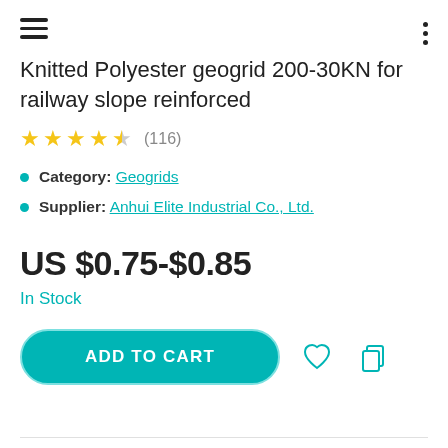Knitted Polyester geogrid 200-30KN for railway slope reinforced
★★★★½ (116)
Category: Geogrids
Supplier: Anhui Elite Industrial Co., Ltd.
US $0.75-$0.85
In Stock
ADD TO CART